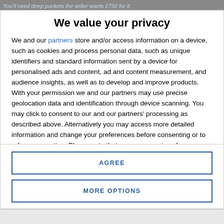You'll need deep pockets the seller wants £750 for it.
We value your privacy
We and our partners store and/or access information on a device, such as cookies and process personal data, such as unique identifiers and standard information sent by a device for personalised ads and content, ad and content measurement, and audience insights, as well as to develop and improve products. With your permission we and our partners may use precise geolocation data and identification through device scanning. You may click to consent to our and our partners' processing as described above. Alternatively you may access more detailed information and change your preferences before consenting or to refuse consenting. Please note that some processing of your personal data may not require your consent, but you have a right to
AGREE
MORE OPTIONS